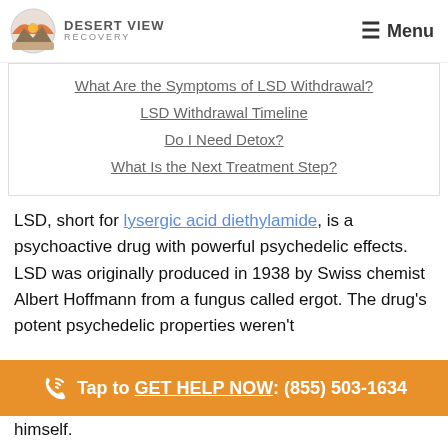DESERT VIEW RECOVERY | Menu
What Are the Symptoms of LSD Withdrawal?
LSD Withdrawal Timeline
Do I Need Detox?
What Is the Next Treatment Step?
LSD, short for lysergic acid diethylamide, is a psychoactive drug with powerful psychedelic effects. LSD was originally produced in 1938 by Swiss chemist Albert Hoffmann from a fungus called ergot. The drug's potent psychedelic properties weren't himself.
Tap to GET HELP NOW: (855) 503-1634